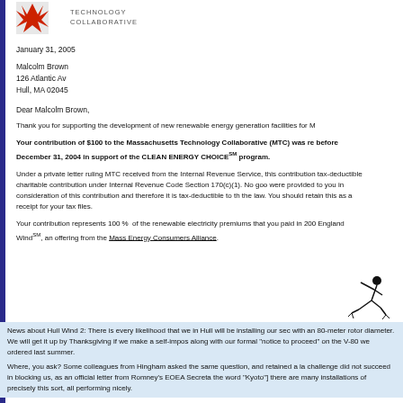[Figure (logo): Massachusetts Technology Collaborative logo with red/orange sunburst icon and text]
TECHNOLOGY COLLABORATIVE
January 31, 2005
Malcolm Brown
126 Atlantic Av
Hull, MA 02045
Dear Malcolm Brown,
Thank you for supporting the development of new renewable energy generation facilities for M
Your contribution of $100 to the Massachusetts Technology Collaborative (MTC) was re before December 31, 2004 in support of the CLEAN ENERGY CHOICEˢᴹ program.
Under a private letter ruling MTC received from the Internal Revenue Service, this contribution tax-deductible charitable contribution under Internal Revenue Code Section 170(c)(1). No goo were provided to you in consideration of this contribution and therefore it is tax-deductible to th the law. You should retain this as a receipt for your tax files.
Your contribution represents 100 % of the renewable electricity premiums that you paid in 200 England Windˢᴹ, an offering from the Mass Energy Consumers Alliance.
[Figure (illustration): Small black stick figure illustration of a person dancing or jumping]
News about Hull Wind 2: There is every likelihood that we in Hull will be installing our sec with an 80-meter rotor diameter. We will get it up by Thanksgiving if we make a self-impos along with our formal "notice to proceed" on the V-80 we ordered last summer.
Where, you ask? Some colleagues from Hingham asked the same question, and retained a la challenge did not succeed in blocking us, as an official letter from Romney's EOEA Secreta the word "Kyoto"] there are many installations of precisely this sort, all performing nicely.